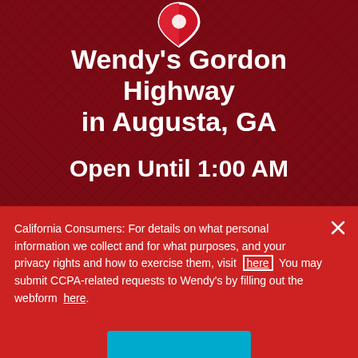[Figure (logo): Wendy's heart/pin logo icon partially visible at top center, red with white outline]
Wendy's Gordon Highway in Augusta, GA
Open Until 1:00 AM
Visit Us Today!
GET DIRECTIONS
California Consumers: For details on what personal information we collect and for what purposes, and your privacy rights and how to exercise them, visit here You may submit CCPA-related requests to Wendy's by filling out the webform here.